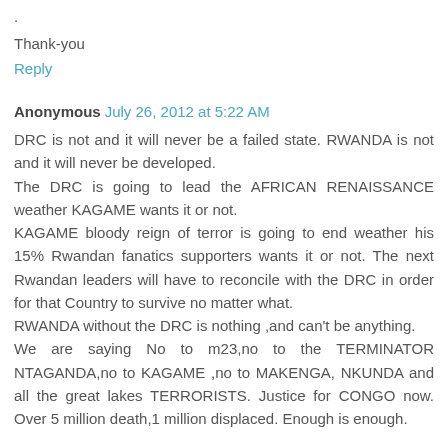.
Thank-you
Reply
Anonymous  July 26, 2012 at 5:22 AM
DRC is not and it will never be a failed state. RWANDA is not and it will never be developed.
The DRC is going to lead the AFRICAN RENAISSANCE weather KAGAME wants it or not.
KAGAME bloody reign of terror is going to end weather his 15% Rwandan fanatics supporters wants it or not. The next Rwandan leaders will have to reconcile with the DRC in order for that Country to survive no matter what.
RWANDA without the DRC is nothing ,and can't be anything.
We are saying No to m23,no to the TERMINATOR NTAGANDA,no to KAGAME ,no to MAKENGA, NKUNDA and all the great lakes TERRORISTS. Justice for CONGO now. Over 5 million death,1 million displaced. Enough is enough.